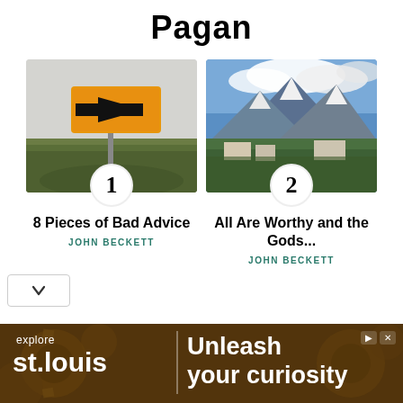Pagan
[Figure (photo): Orange directional arrow sign on a post in a misty grassy field, numbered 1]
8 Pieces of Bad Advice
JOHN BECKETT
[Figure (photo): Aerial view of a city with snow-capped mountains in the background, numbered 2]
All Are Worthy and the Gods...
JOHN BECKETT
[Figure (other): Advertisement banner: explore st.louis | Unleash your curiosity]